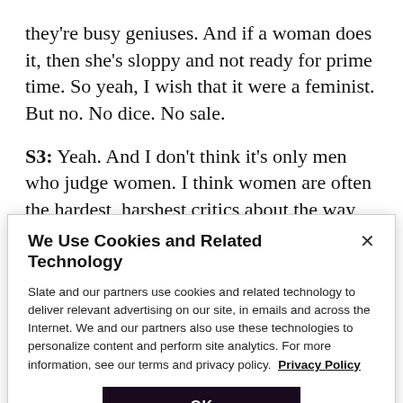they're busy geniuses. And if a woman does it, then she's sloppy and not ready for prime time. So yeah, I wish that it were a feminist. But no. No dice. No sale.
S3: Yeah. And I don't think it's only men who judge women. I think women are often the hardest, harshest critics about the way other women dress for the office. I mean, the other thing I was, I say, I think it's a I don't know, I don't know where I come down on this because I
We Use Cookies and Related Technology
Slate and our partners use cookies and related technology to deliver relevant advertising on our site, in emails and across the Internet. We and our partners also use these technologies to personalize content and perform site analytics. For more information, see our terms and privacy policy. Privacy Policy